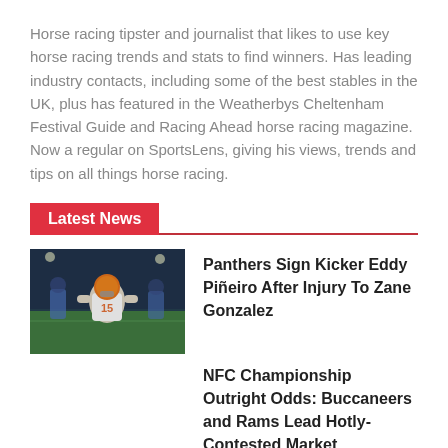Horse racing tipster and journalist that likes to use key horse racing trends and stats to find winners. Has leading industry contacts, including some of the best stables in the UK, plus has featured in the Weatherbys Cheltenham Festival Guide and Racing Ahead horse racing magazine. Now a regular on SportsLens, giving his views, trends and tips on all things horse racing.
Latest News
[Figure (photo): Photo of a football kicker wearing jersey number 15, on an indoor football field]
Panthers Sign Kicker Eddy Piñeiro After Injury To Zane Gonzalez
NFC Championship Outright Odds: Buccaneers and Rams Lead Hotly-Contested Market